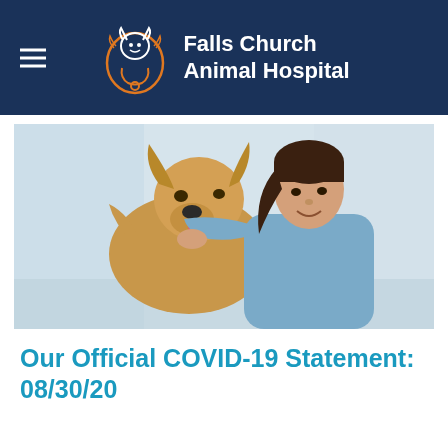Falls Church Animal Hospital
[Figure (photo): A veterinarian in blue scrubs hugging a golden retriever dog, both facing the camera, bright clinical background]
Our Official COVID-19 Statement: 08/30/20